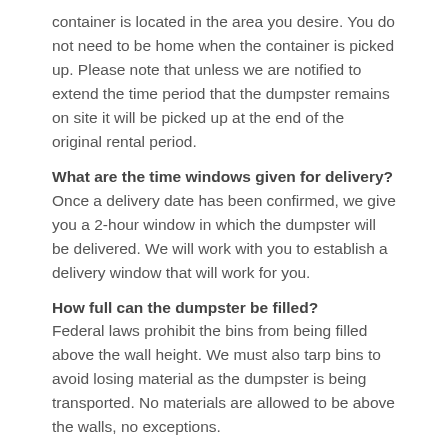container is located in the area you desire. You do not need to be home when the container is picked up. Please note that unless we are notified to extend the time period that the dumpster remains on site it will be picked up at the end of the original rental period.
What are the time windows given for delivery?
Once a delivery date has been confirmed, we give you a 2-hour window in which the dumpster will be delivered. We will work with you to establish a delivery window that will work for you.
How full can the dumpster be filled?
Federal laws prohibit the bins from being filled above the wall height. We must also tarp bins to avoid losing material as the dumpster is being transported. No materials are allowed to be above the walls, no exceptions.
Can a dumpster be put on the Street?